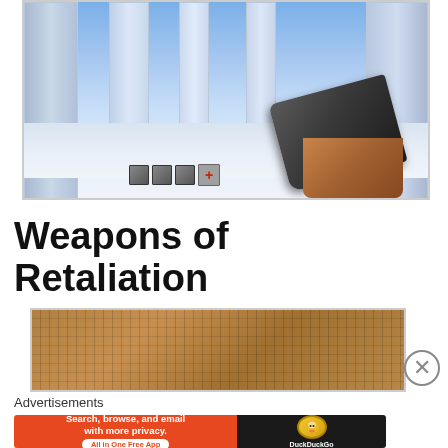[Figure (screenshot): First-person shooter game screenshot showing a blue-tinted indoor environment with stone/ice pillars, white floor, and a hand holding a gun in the lower right. HUD elements visible at bottom including health cross icon.]
Weapons of Retaliation
[Figure (screenshot): Partial screenshot of a game level showing a brown/tan textured surface with a grid-like pattern, appearing to be a floor or wall texture.]
Advertisements
[Figure (infographic): DuckDuckGo advertisement banner. Red background with white text: 'Search, browse, and email with more privacy. All in One Free App'. Right side shows DuckDuckGo duck logo on dark background with 'DuckDuckGo' text.]